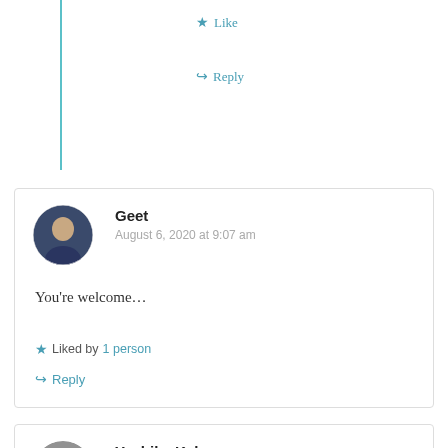★ Like
↪ Reply
Geet
August 6, 2020 at 9:07 am
You're welcome…
★ Liked by 1 person
↪ Reply
Yashika Kalra
August 12, 2020 at 8:26 am